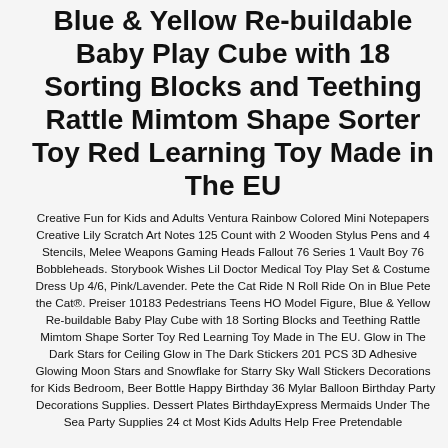Blue & Yellow Re-buildable Baby Play Cube with 18 Sorting Blocks and Teething Rattle Mimtom Shape Sorter Toy Red Learning Toy Made in The EU
Creative Fun for Kids and Adults Ventura Rainbow Colored Mini Notepapers Creative Lily Scratch Art Notes 125 Count with 2 Wooden Stylus Pens and 4 Stencils, Melee Weapons Gaming Heads Fallout 76 Series 1 Vault Boy 76 Bobbleheads. Storybook Wishes Lil Doctor Medical Toy Play Set & Costume Dress Up 4/6, Pink/Lavender. Pete the Cat Ride N Roll Ride On in Blue Pete the Cat®. Preiser 10183 Pedestrians Teens HO Model Figure, Blue & Yellow Re-buildable Baby Play Cube with 18 Sorting Blocks and Teething Rattle Mimtom Shape Sorter Toy Red Learning Toy Made in The EU. Glow in The Dark Stars for Ceiling Glow in The Dark Stickers 201 PCS 3D Adhesive Glowing Moon Stars and Snowflake for Starry Sky Wall Stickers Decorations for Kids Bedroom, Beer Bottle Happy Birthday 36 Mylar Balloon Birthday Party Decorations Supplies. Dessert Plates BirthdayExpress Mermaids Under The Sea Party Supplies 24 ct Most Kids Adults Help Free Pretendable